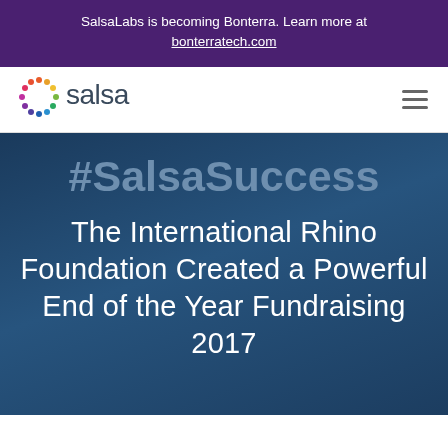SalsaLabs is becoming Bonterra. Learn more at bonterratech.com
[Figure (logo): Salsa Labs logo with colorful wheel icon and 'salsa' wordmark in dark gray]
#SalsaSuccess
The International Rhino Foundation Created a Powerful End of the Year Fundraising 2017